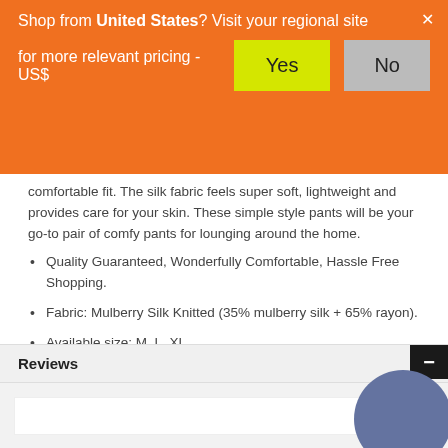Shop from United States? Visit your regional site for more relevant pricing - US$
comfortable fit. The silk fabric feels super soft, lightweight and provides care for your skin. These simple style pants will be your go-to pair of comfy pants for lounging around the home.
Quality Guaranteed, Wonderfully Comfortable, Hassle Free Shopping.
Fabric: Mulberry Silk Knitted (35% mulberry silk + 65% rayon).
Available size: M, L, XL.
SKU: TG-01S052-YXL-Coffee-S
[Figure (other): Social sharing icons: Facebook, Twitter, Email, Pinterest, Messenger, Plus]
Reviews